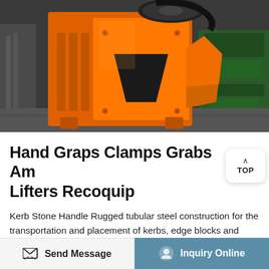[Figure (photo): Large orange industrial jaw crusher / construction machine photographed in a warehouse or factory setting, with green machinery visible in the background.]
Hand Graps Clamps Grabs Am Lifters Recoquip
Kerb Stone Handle Rugged tubular steel construction for the transportation and placement of kerbs, edge blocks and natural stone kerbs by hand. Replaceable rubber-lined jaws. Universal Handle Sturdy steel construction, designed for
Send Message    Inquiry Online